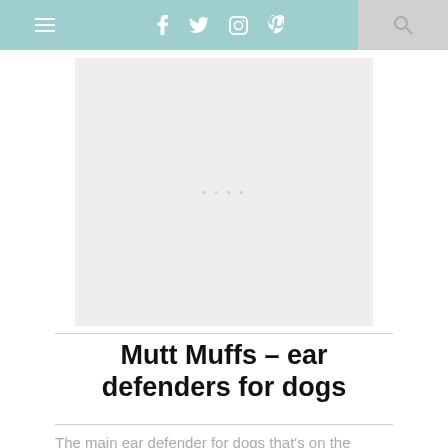≡  f  t  (instagram)  (pinterest)  (search)
[Figure (photo): Placeholder image area with light gray background]
Mutt Muffs – ear defenders for dogs
The main ear defender for dogs that's on the market currently is Mutt Muffs